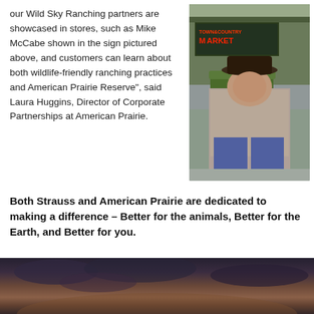our Wild Sky Ranching partners are showcased in stores, such as Mike McCabe shown in the sign pictured above, and customers can learn about both wildlife-friendly ranching practices and American Prairie Reserve", said Laura Huggins, Director of Corporate Partnerships at American Prairie.
[Figure (photo): Photo of a man wearing a cowboy hat and a patterned shirt, standing in front of a Town & Country Market store]
Both Strauss and American Prairie are dedicated to making a difference – Better for the animals, Better for the Earth, and Better for you.
[Figure (photo): Background photo of a dramatic cloudy sky at dusk with orange and purple tones]
S U B S C R I B E